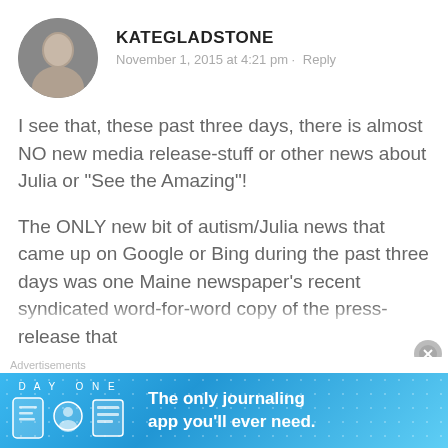KATEGLADSTONE
November 1, 2015 at 4:21 pm · Reply
I see that, these past three days, there is almost NO new media release-stuff or other news about Julia or “See the Amazing”!
The ONLY new bit of autism/Julia news that came up on Google or Bing during the past three days was one Maine newspaper’s recent syndicated word-for-word copy of the press-release that National Public Radio had...
Advertisements
[Figure (infographic): DAY ONE app advertisement banner with blue dotted background, app icons, and text: The only journaling app you'll ever need.]